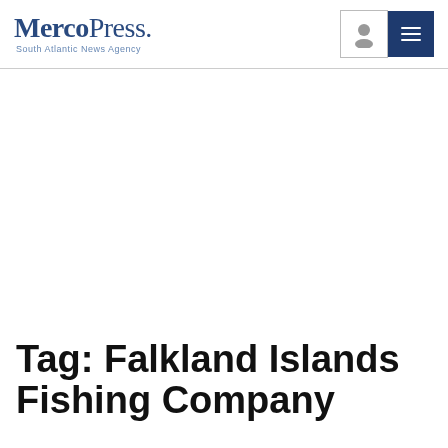MercoPress. South Atlantic News Agency
Tag: Falkland Islands Fishing Company